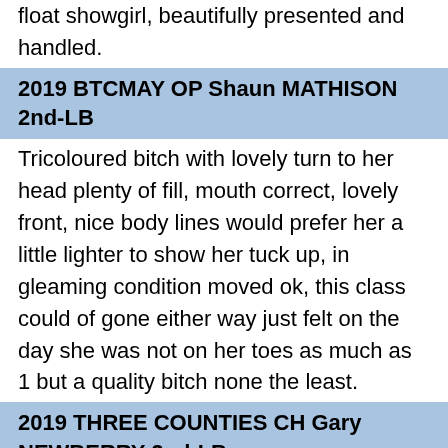float showgirl, beautifully presented and handled.
2019 BTCMAY OP Shaun MATHISON 2nd-LB
Tricoloured bitch with lovely turn to her head plenty of fill, mouth correct, lovely front, nice body lines would prefer her a little lighter to show her tuck up, in gleaming condition moved ok, this class could of gone either way just felt on the day she was not on her toes as much as 1 but a quality bitch none the least.
2019 THREE COUNTIES CH Gary NEWBERRY 2nd-LB
Tricolour girl with a well filled powerful deep head. Correct incisors, just one instanding canine. Long reach of neck, straight front, pronounced forechest, deep brisket and well angulated stifles. Would like a touch more length of leg to complete the picture. Very well handled and presented, displaying a gleaming black shiny coat. Moved well coming, close behind.